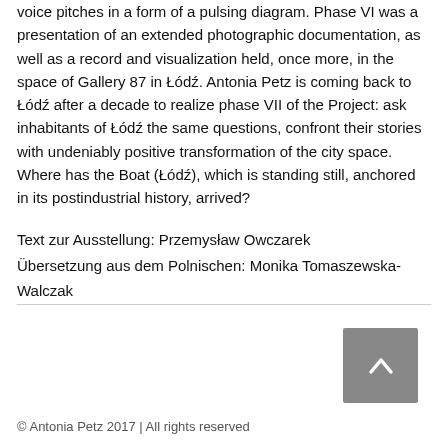voice pitches in a form of a pulsing diagram. Phase VI was a presentation of an extended photographic documentation, as well as a record and visualization held, once more, in the space of Gallery 87 in Łódź. Antonia Petz is coming back to Łódź after a decade to realize phase VII of the Project: ask inhabitants of Łódź the same questions, confront their stories with undeniably positive transformation of the city space. Where has the Boat (Łódź), which is standing still, anchored in its postindustrial history, arrived?
Text zur Ausstellung: Przemysław Owczarek
Übersetzung aus dem Polnischen: Monika Tomaszewska-Walczak
[Figure (other): A dark grey square button with a white upward-pointing chevron/caret arrow, used as a scroll-to-top button.]
© Antonia Petz 2017 | All rights reserved